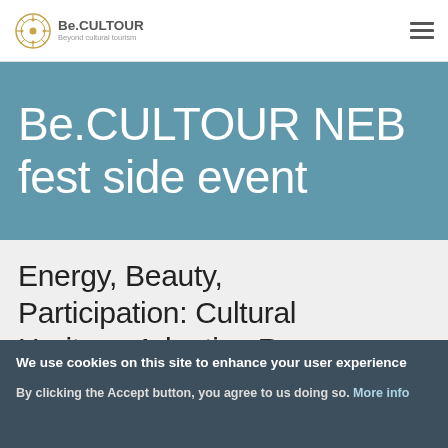Be.CULTOUR — Beyond cultural tourism (logo + navigation menu icon)
Be.CULTOUR NEB fest side event
Energy, Beauty, Participation: Cultural Heritage Adaptive Reuse as
We use cookies on this site to enhance your user experience

By clicking the Accept button, you agree to us doing so. More info